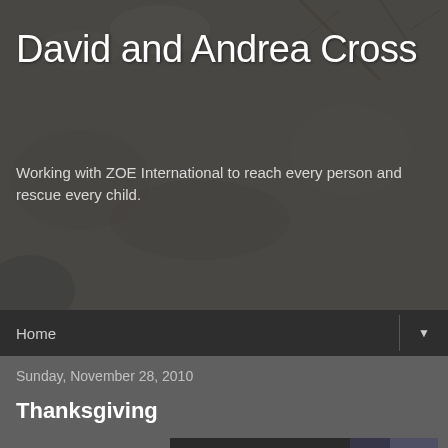David and Andrea Cross
Working with ZOE International to reach every person and rescue every child.
Home
Sunday, November 28, 2010
Thanksgiving
[Figure (photo): Group of people gathered around a table at a Thanksgiving dinner, several standing and socializing, a baby visible at the table with food.]